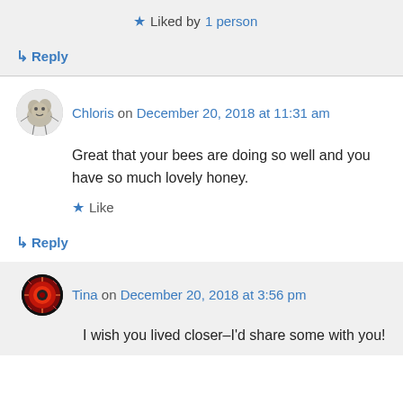★ Liked by 1 person
↳ Reply
Chloris on December 20, 2018 at 11:31 am
Great that your bees are doing so well and you have so much lovely honey.
★ Like
↳ Reply
Tina on December 20, 2018 at 3:56 pm
I wish you lived closer–I'd share some with you!